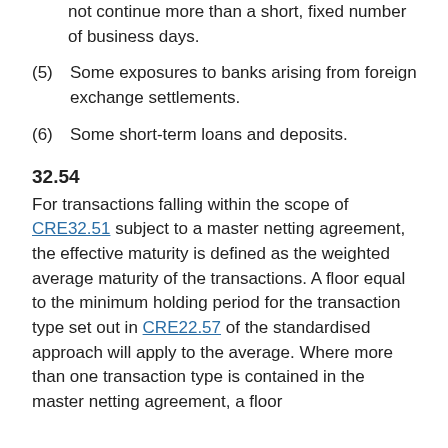failed transfers provided through overdrafts do not continue more than a short, fixed number of business days.
(5) Some exposures to banks arising from foreign exchange settlements.
(6) Some short-term loans and deposits.
32.54
For transactions falling within the scope of CRE32.51 subject to a master netting agreement, the effective maturity is defined as the weighted average maturity of the transactions. A floor equal to the minimum holding period for the transaction type set out in CRE22.57 of the standardised approach will apply to the average. Where more than one transaction type is contained in the master netting agreement, a floor